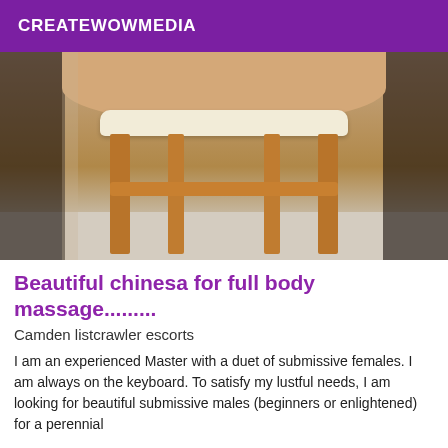CREATEWOWMEDIA
[Figure (photo): A photo showing a person in black fishnet stockings leaning over a wooden stool with a cream-colored cushion top, on a tiled floor.]
Beautiful chinesa for full body massage.........
Camden listcrawler escorts
I am an experienced Master with a duet of submissive females. I am always on the keyboard. To satisfy my lustful needs, I am looking for beautiful submissive males (beginners or enlightened) for a perennial